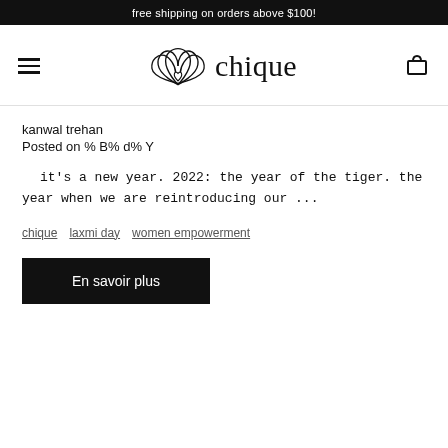free shipping on orders above $100!
[Figure (logo): Chique brand logo with lotus flower SVG icon and 'chique' text, hamburger menu icon on left, shopping bag icon on right]
kanwal trehan
Posted on % B% d% Y
it's a new year. 2022: the year of the tiger. the year when we are reintroducing our ...
chique
laxmi day
women empowerment
En savoir plus